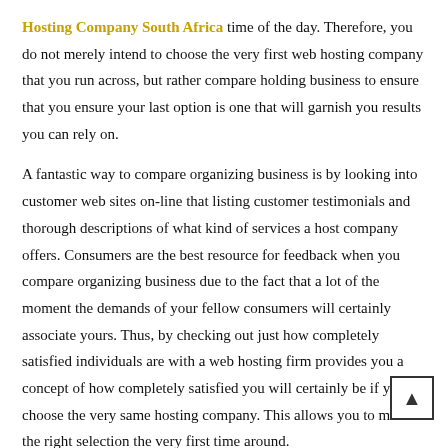Hosting Company South Africa time of the day. Therefore, you do not merely intend to choose the very first web hosting company that you run across, but rather compare holding business to ensure that you ensure your last option is one that will garnish you results you can rely on.
A fantastic way to compare organizing business is by looking into customer web sites on-line that listing customer testimonials and thorough descriptions of what kind of services a host company offers. Consumers are the best resource for feedback when you compare organizing business due to the fact that a lot of the moment the demands of your fellow consumers will certainly associate yours. Thus, by checking out just how completely satisfied individuals are with a web hosting firm provides you a concept of how completely satisfied you will certainly be if you choose the very same hosting company. This allows you to make the right selection the very first time around.
Also, the in-depth descriptions of holding business's offerings can like be detail if you are looking for a certain hosting plan before f...